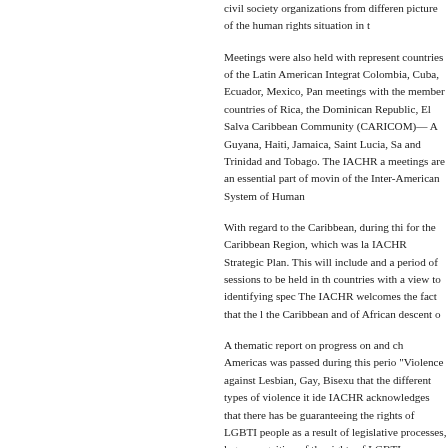civil society organizations from different picture of the human rights situation in t
Meetings were also held with represent countries of the Latin American Integrat Colombia, Cuba, Ecuador, Mexico, Pan meetings with the member countries of Rica, the Dominican Republic, El Salva Caribbean Community (CARICOM)— A Guyana, Haiti, Jamaica, Saint Lucia, Sa and Trinidad and Tobago. The IACHR a meetings are an essential part of movin of the Inter-American System of Human
With regard to the Caribbean, during thi for the Caribbean Region, which was la IACHR Strategic Plan. This will include and a period of sessions to be held in th countries with a view to identifying spec The IACHR welcomes the fact that the l the Caribbean and of African descent o
A thematic report on progress on and ch Americas was passed during this perio "Violence against Lesbian, Gay, Bisexu that the different types of violence it ide IACHR acknowledges that there has be guaranteeing the rights of LGBTI people as a result of legislative processes, lega recognition of the rights of LGBTI peop nondiscrimination, which are indispensa